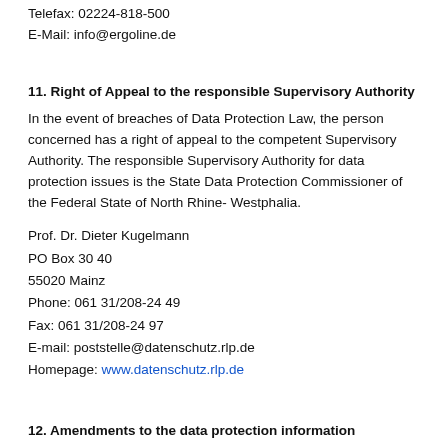Telefax: 02224-818-500
E-Mail: info@ergoline.de
11. Right of Appeal to the responsible Supervisory Authority
In the event of breaches of Data Protection Law, the person concerned has a right of appeal to the competent Supervisory Authority. The responsible Supervisory Authority for data protection issues is the State Data Protection Commissioner of the Federal State of North Rhine-Westphalia.
Prof. Dr. Dieter Kugelmann
PO Box 30 40
55020 Mainz
Phone: 061 31/208-24 49
Fax: 061 31/208-24 97
E-mail: poststelle@datenschutz.rlp.de
Homepage: www.datenschutz.rlp.de
12. Amendments to the data protection information